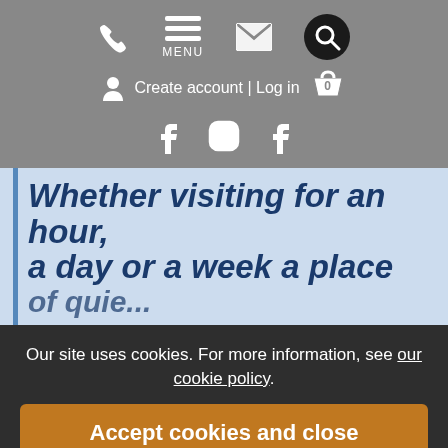Navigation bar with phone, menu, mail, search icons; Create account | Log in; social icons (Facebook, Instagram, Facebook)
Whether visiting for an hour, a day or a week a place of quiet retreat
Our site uses cookies. For more information, see our cookie policy.
Accept cookies and close
Reject cookies
Manage settings